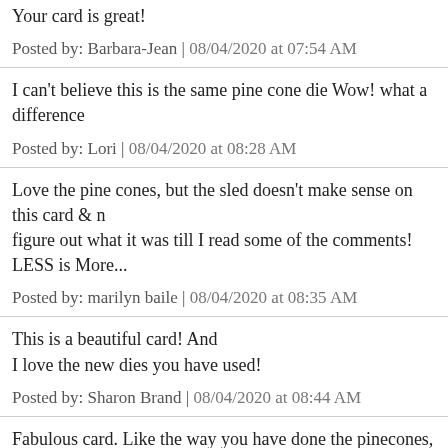Your card is great!
Posted by: Barbara-Jean | 08/04/2020 at 07:54 AM
I can't believe this is the same pine cone die Wow! what a difference
Posted by: Lori | 08/04/2020 at 08:28 AM
Love the pine cones, but the sled doesn't make sense on this card & n figure out what it was till I read some of the comments!
LESS is More...
Posted by: marilyn baile | 08/04/2020 at 08:35 AM
This is a beautiful card! And
I love the new dies you have used!
Posted by: Sharon Brand | 08/04/2020 at 08:44 AM
Fabulous card. Like the way you have done the pinecones, it really n